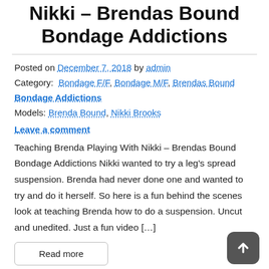Nikki – Brendas Bound Bondage Addictions
Posted on December 7, 2018 by admin
Category: Bondage F/F, Bondage M/F, Brendas Bound Bondage Addictions
Models: Brenda Bound, Nikki Brooks
Leave a comment
Teaching Brenda Playing With Nikki – Brendas Bound Bondage Addictions Nikki wanted to try a leg's spread suspension. Brenda had never done one and wanted to try and do it herself. So here is a fun behind the scenes look at teaching Brenda how to do a suspension. Uncut and unedited. Just a fun video […]
Read more